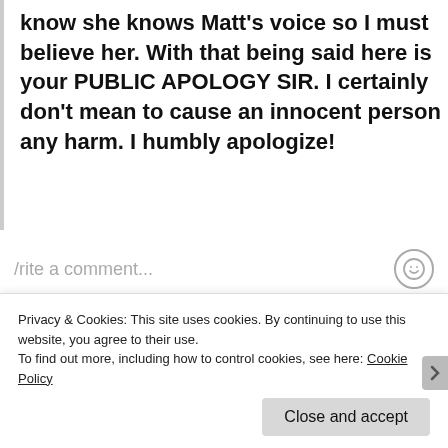know she knows Matt's voice so I must believe her. With that being said here is your PUBLIC APOLOGY SIR. I certainly don't mean to cause an innocent person any harm. I humbly apologize!
/rite a comment...
Privacy & Cookies: This site uses cookies. By continuing to use this website, you agree to their use.
To find out more, including how to control cookies, see here: Cookie Policy
Close and accept